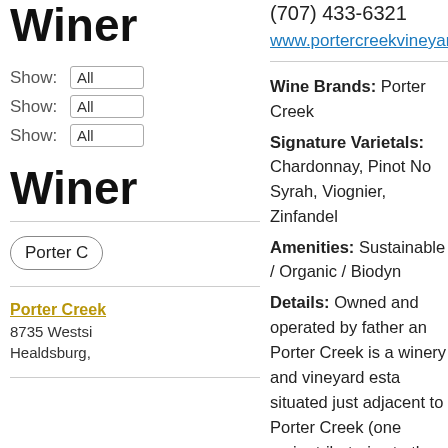Winer
Show: All
Show: All
Show: All
Winer
Porter C
Porter Creek
8735 Westsi
Healdsburg,
(707) 433-6321
www.portercreekvineyards.com
Wine Brands: Porter Creek
Signature Varietals: Chardonnay, Pinot No Syrah, Viognier, Zinfandel
Amenities: Sustainable / Organic / Biodyn
Details: Owned and operated by father an Porter Creek is a winery and vineyard esta situated just adjacent to Porter Creek (one major tributaries to the Russian River on We Road) in the most prestigious part of the Ru River Valley appellation. With a strong commitment to the growing conditions in th Russian River Valley, Porter Creek focuses o organic, hillside-grown, vineyard designate of power anand finesse with a purity and de character that is unmatched. Porter Creek' are a unique, intriguing expression of the tru